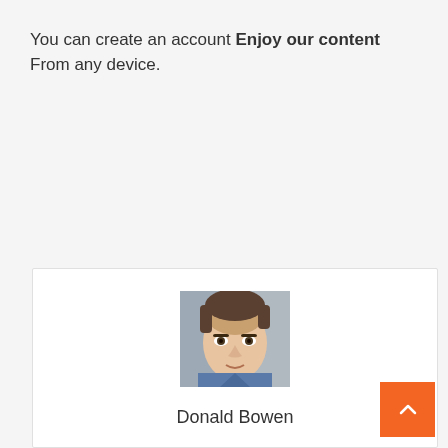You can create an account Enjoy our content From any device.
[Figure (photo): Portrait photo of a young man with short brown hair looking at the camera, wearing a blue shirt, with a blurred background]
Donald Bowen